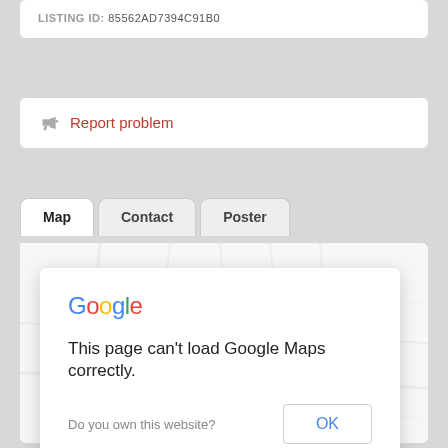LISTING ID: 85562AD7394C91B0
Report problem
Map | Contact | Poster
[Figure (screenshot): Google Maps error dialog saying 'This page can't load Google Maps correctly.' with an OK button and a greyed-out map background showing Rincon Hill area of San Francisco.]